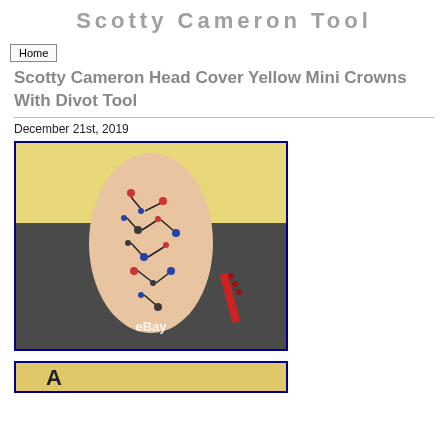Scotty Cameron Tool
Home
Scotty Cameron Head Cover Yellow Mini Crowns With Divot Tool
December 21st, 2019
[Figure (photo): Photo of a Scotty Cameron putter head cover in peach/cream color with colorful crown/molecule-like pattern printed on it, displayed against a yellow and dark background. eBay watermark visible.]
[Figure (photo): Partial view of a second product photo (cropped at page bottom).]